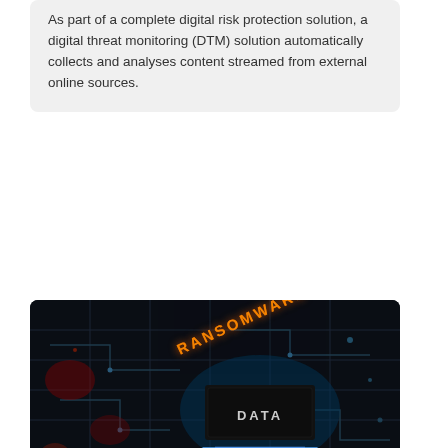As part of a complete digital risk protection solution, a digital threat monitoring (DTM) solution automatically collects and analyses content streamed from external online sources.
[Figure (photo): Dark circuit board background with glowing orange text 'RANSOMWARE' and a black chip labeled 'DATA' with blue metallic chevron element, dramatic dark tech aesthetic]
FORTIGUARD
Ransomware variants almost double in six months